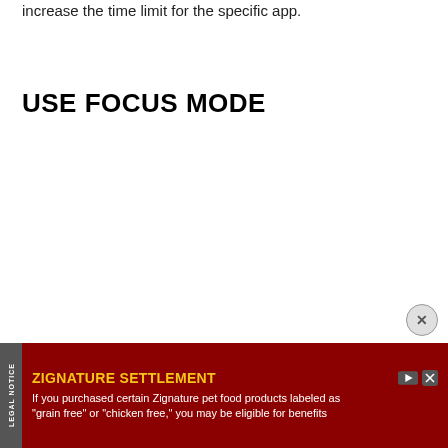increase the time limit for the specific app.
USE FOCUS MODE
Focus mode is another handy part of Samsung's Digital Wellb... used withou... f Do
[Figure (infographic): Advertisement overlay for ZIGNATURE SETTLEMENT with dark red background, legal notice sidebar, play and close icons, and text: 'ZIGNATURE SETTLEMENT - If you purchased certain Zignature pet food products labeled as "grain free" or "chicken free," you may be eligible for benefits']